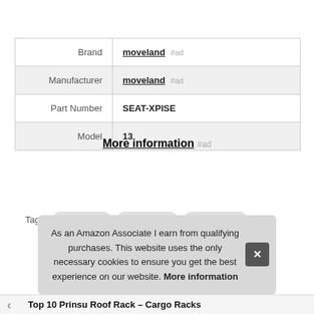|  |  |
| --- | --- |
| Brand | moveland #ad |
| Manufacturer | moveland #ad |
| Part Number | SEAT-XPISE |
| Model | 13 |
More information #ad
Tags: moveland  Pro Armor  PRP Seats
As an Amazon Associate I earn from qualifying purchases. This website uses the only necessary cookies to ensure you get the best experience on our website. More information
Top 10 Prinsu Roof Rack – Cargo Racks